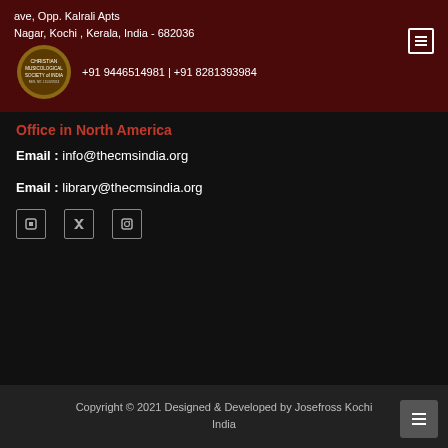ave, Opp. Kalrali Apts
Nagar, Kochi , Kerala, India - 682036
[Figure (logo): Christian Musicological Society of India logo with circular emblem]
+91 9446514981 | +91 8281393984
Office in North America
Email : info@thecmsindia.org
Email : library@thecmsindia.org
[Figure (other): Three social media icon buttons]
Copyright © 2021 Designed & Developed by Josefross Kochi India